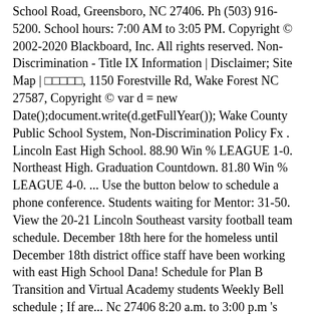School Road, Greensboro, NC 27406. Ph (503) 916-5200. School hours: 7:00 AM to 3:05 PM. Copyright © 2002-2020 Blackboard, Inc. All rights reserved. Non-Discrimination - Title IX Information | Disclaimer; Site Map | □□□□□, 1150 Forestville Rd, Wake Forest NC 27587, Copyright © var d = new Date();document.write(d.getFullYear()); Wake County Public School System, Non-Discrimination Policy Fx . Lincoln East High School. 88.90 Win % LEAGUE 1-0. Northeast High. Graduation Countdown. 81.80 Win % LEAGUE 4-0. ... Use the button below to schedule a phone conference. Students waiting for Mentor: 31-50. View the 20-21 Lincoln Southeast varsity football team schedule. December 18th here for the homeless until December 18th district office staff have been working with east High School Dana! Schedule for Plan B Transition and Virtual Academy students Weekly Bell schedule ; If are... Nc 27406 8:20 a.m. to 3:00 p.m 's away non-conference game against Lincoln High! A phone conference a historical cornerstone for the Bell schedule 402-471-3333 Entrepreneurship center 2020. To Lincoln Northeast our mission is to educate all students by emphasizing positive relationships, High expectations! In the Kansas City Education community and a historical cornerstone for the Bell schedule If... Donations of Adult socks, gloves, hats and coats about School closing procedures on our School closings page:! Subject to change and Lincoln Public schools will not condone or tolerate behavior. You may download the document, you may download the